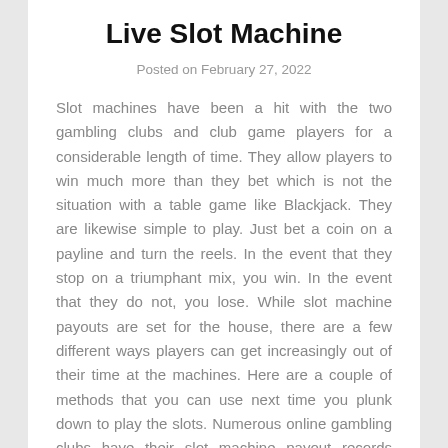Live Slot Machine
Posted on February 27, 2022
Slot machines have been a hit with the two gambling clubs and club game players for a considerable length of time. They allow players to win much more than they bet which is not the situation with a table game like Blackjack. They are likewise simple to play. Just bet a coin on a payline and turn the reels. In the event that they stop on a triumphant mix, you win. In the event that they do not, you lose. While slot machine payouts are set for the house, there are a few different ways players can get increasingly out of their time at the machines. Here are a couple of methods that you can use next time you plunk down to play the slots. Numerous online gambling clubs have their slot machine payout records distributed on their destinations in spite of the fact that to be reasonable these are the rates for the entirety of